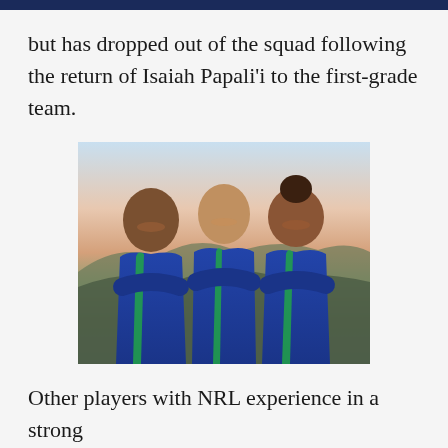but has dropped out of the squad following the return of Isaiah Papali'i to the first-grade team.
[Figure (photo): Three rugby league players wearing blue New Zealand Warriors NRL jerseys with Vodafone and Puma logos, standing with arms crossed, smiling, with a landscape background at dusk.]
Other players with NRL experience in a strong